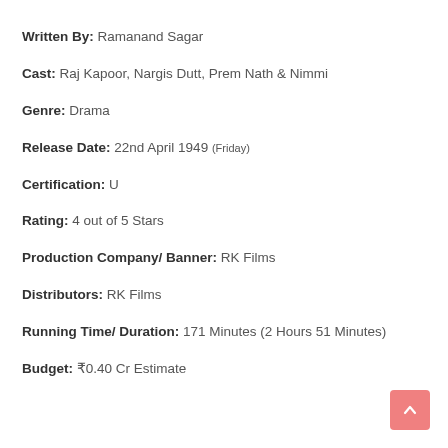Written By: Ramanand Sagar
Cast: Raj Kapoor, Nargis Dutt, Prem Nath & Nimmi
Genre: Drama
Release Date: 22nd April 1949 (Friday)
Certification: U
Rating: 4 out of 5 Stars
Production Company/ Banner: RK Films
Distributors: RK Films
Running Time/ Duration: 171 Minutes (2 Hours 51 Minutes)
Budget: ₹0.40 Cr Estimate